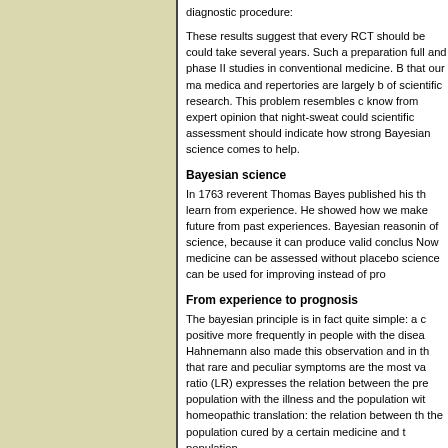diagnostic procedure:
These results suggest that every RCT should be... could take several years. Such a preparation full... and phase II studies in conventional medicine. B... that our ma medica and repertories are largely b... of scientific research. This problem resembles c... know from expert opinion that night-sweat could... scientific assessment should indicate how strong... Bayesian science comes to help.
Bayesian science
In 1763 reverent Thomas Bayes published his th... learn from experience. He showed how we make... future from past experiences. Bayesian reasonin... of science, because it can produce valid conclus... Now medicine can be assessed without placebo... science can be used for improving instead of pro...
From experience to prognosis
The bayesian principle is in fact quite simple: a c... positive more frequently in people with the disea... Hahnemann also made this observation and in th... that rare and peculiar symptoms are the most va... ratio (LR) expresses the relation between the pre... population with the illness and the population wit... homeopathic translation: the relation between th... the population cured by a certain medicine and t... population.